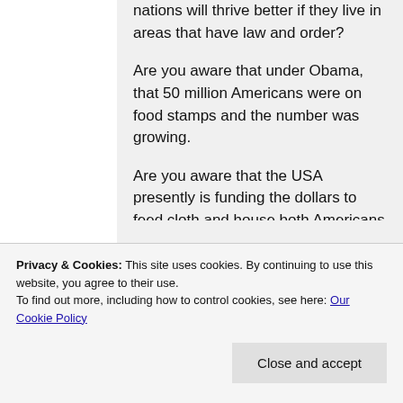nations will thrive better if they live in areas that have law and order?

Are you aware that under Obama, that 50 million Americans were on food stamps and the number was growing.

Are you aware that the USA presently is funding the dollars to feed cloth and house both Americans in poverty and illegal
Privacy & Cookies: This site uses cookies. By continuing to use this website, you agree to their use.
To find out more, including how to control cookies, see here: Our Cookie Policy
Close and accept